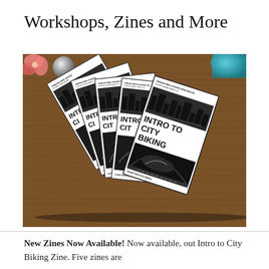Workshops, Zines and More
[Figure (photo): A fan of five zines titled 'Intro to City Biking' by Urban Bike-Givers (Hard Knocks Bikes) spread out on a wooden table. A pink flower and silver ball are visible in the top-left corner, and a teal mug is partially visible in the top-right corner.]
New Zines Now Available!  Now available, out Intro to City Biking Zine. Five zines are shown spread out on a wooden table.